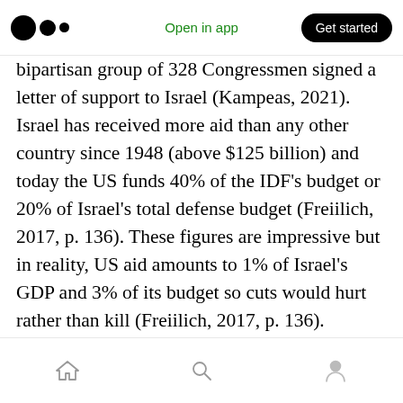Open in app | Get started
bipartisan group of 328 Congressmen signed a letter of support to Israel (Kampeas, 2021). Israel has received more aid than any other country since 1948 (above $125 billion) and today the US funds 40% of the IDF's budget or 20% of Israel's total defense budget (Freiilich, 2017, p. 136). These figures are impressive but in reality, US aid amounts to 1% of Israel's GDP and 3% of its budget so cuts would hurt rather than kill (Freiilich, 2017, p. 136). Nevertheless, losing the support of Democrats is still of major concern to Israel since cuts would hurt.
Home | Search | Profile